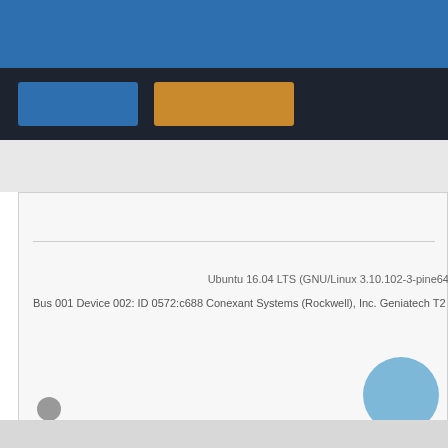[Figure (screenshot): Blue top navigation bar of a web application]
[Figure (screenshot): Dark navigation bar with a blue button and an orange button]
Ubuntu 16.04 LTS (GNU/Linux 3.10.102-3-pine64
Bus 001 Device 002: ID 0572:c688 Conexant Systems (Rockwell), Inc. Geniatech T2